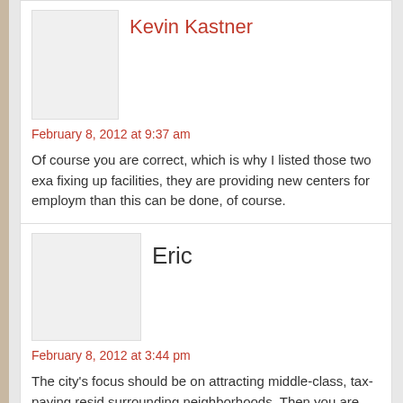Kevin Kastner
February 8, 2012 at 9:37 am
Of course you are correct, which is why I listed those two exa fixing up facilities, they are providing new centers for employm than this can be done, of course.
Eric
February 8, 2012 at 3:44 pm
The city's focus should be on attracting middle-class, tax-paying resid surrounding neighborhoods. Then you are able to support the infrastr neighborhoods. The downtown mall, chain restaurants, and stadiums